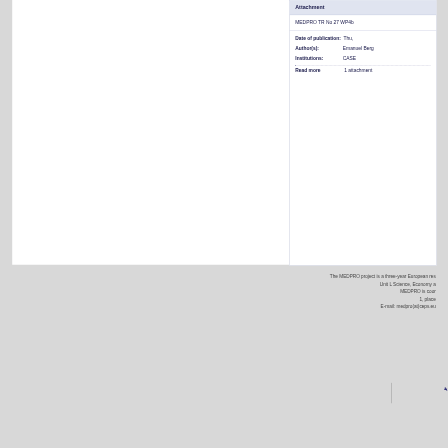Attachment
MEDPRO TR No 27 WP4b
Date of publication:  Thu,
Author(s):   Emanuel Berg
Institutions:   CASE
Read more   1 attachment
The MEDPRO project is a three-year European res Unit L Science, Economy a MEDPRO is coor 1, place E-mail: medpro(at)ceps.eu
Arabic text